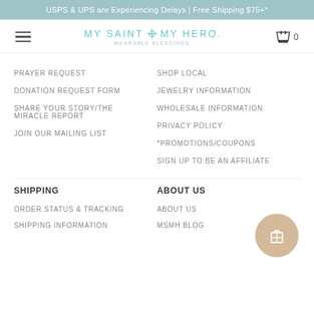USPS & UPS are Experiencing Delays | Free Shipping $75+*
[Figure (logo): My Saint My Hero Wearable Blessings logo with navigation bar including hamburger menu and cart icon]
PRAYER REQUEST
SHOP LOCAL
DONATION REQUEST FORM
JEWELRY INFORMATION
SHARE YOUR STORY/THE MIRACLE REPORT
WHOLESALE INFORMATION
PRIVACY POLICY
JOIN OUR MAILING LIST
*PROMOTIONS/COUPONS
SIGN UP TO BE AN AFFILIATE
SHIPPING
ABOUT US
ORDER STATUS & TRACKING
ABOUT US
SHIPPING INFORMATION
MSMH BLOG